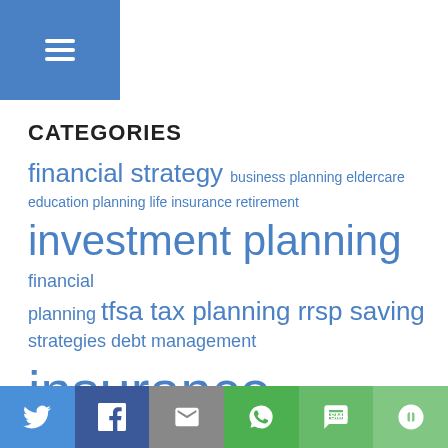[Figure (screenshot): Blue header bar with hamburger menu icon (three white horizontal lines)]
CATEGORIES
[Figure (infographic): Tag cloud of financial planning categories in various font sizes, all in blue: financial strategy, business planning, eldercare, education planning, life insurance, retirement, investment planning, financial planning, tfsa, tax planning, rrsp, saving strategies, debt management, insurance planning, estate planning, financial strategies, investment]
[Figure (infographic): Social sharing bar at bottom with icons for Twitter, Facebook, Email, WhatsApp, SMS, and More — on colored backgrounds (blue, dark blue, gray, green, green, green)]